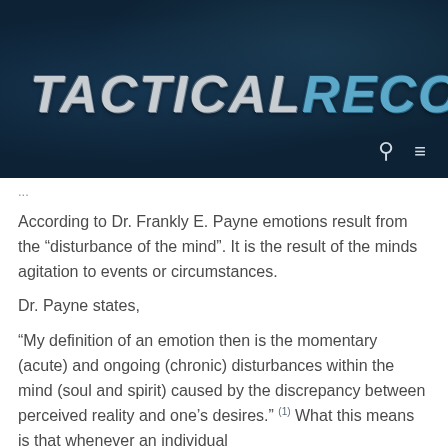[Figure (logo): TacticalRecon website logo on dark navy background with search and menu icons]
According to Dr. Frankly E. Payne emotions result from the “disturbance of the mind”. It is the result of the minds agitation to events or circumstances.
Dr. Payne states,
“My definition of an emotion then is the momentary (acute) and ongoing (chronic) disturbances within the mind (soul and spirit) caused by the discrepancy between perceived reality and one’s desires.” (1) What this means is that whenever an individual